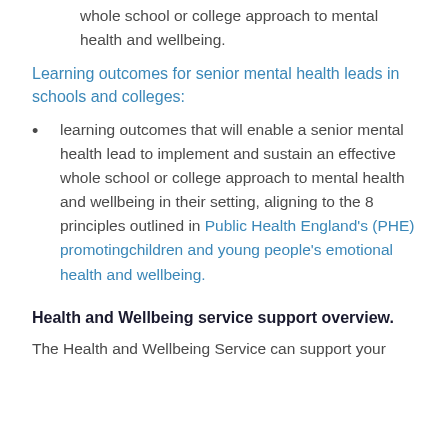whole school or college approach to mental health and wellbeing.
Learning outcomes for senior mental health leads in schools and colleges:
learning outcomes that will enable a senior mental health lead to implement and sustain an effective whole school or college approach to mental health and wellbeing in their setting, aligning to the 8 principles outlined in Public Health England's (PHE) promotingchildren and young people's emotional health and wellbeing.
Health and Wellbeing service support overview.
The Health and Wellbeing Service can support your